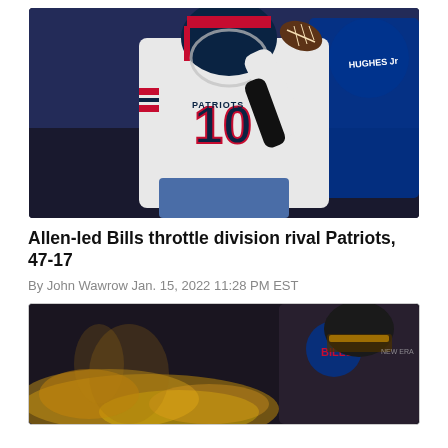[Figure (photo): New England Patriots quarterback #10 in white uniform throwing a football, with a Buffalo Bills defender (Hughes Jr.) in blue uniform behind him, during a night NFL game]
Allen-led Bills throttle division rival Patriots, 47-17
By John Wawrow Jan. 15, 2022 11:28 PM EST
[Figure (photo): Close-up of a Buffalo Bills player in dark uniform with helmet and visor, with golden/yellow smoke or pyrotechnics in the foreground during a stadium entrance]